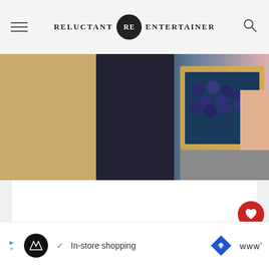RELUCTANT RE ENTERTAINER
[Figure (photo): Close-up photo of a person holding a wooden box with blueberries, surrounded by grain-like textures and gravel]
[Figure (screenshot): White content card area with heart/like button showing count of 8 and share button, plus a 'What's Next' card showing 'How to Make an Epic...']
WHAT'S NEXT → How to Make an Epic...
8
[Figure (screenshot): Ad banner at the bottom: skip controls, black circular logo, checkmark, 'In-store shopping' text, blue diamond navigation icon, brand logo]